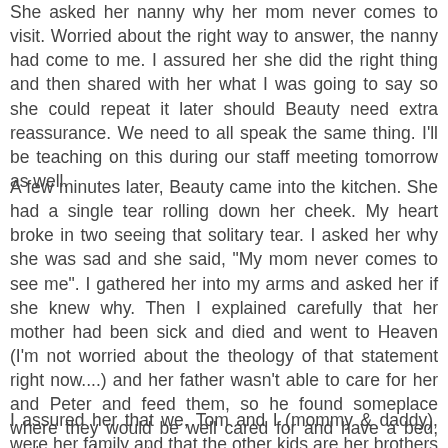She asked her nanny why her mom never comes to visit. Worried about the right way to answer, the nanny had come to me. I assured her she did the right thing and then shared with her what I was going to say so she could repeat it later should Beauty need extra reassurance. We need to all speak the same thing. I'll be teaching on this during our staff meeting tomorrow as well.
A few minutes later, Beauty came into the kitchen. She had a single tear rolling down her cheek. My heart broke in two seeing that solitary tear. I asked her why she was sad and she said, "My mom never comes to see me". I gathered her into my arms and asked her if she knew why. Then I explained carefully that her mother had been sick and died and went to Heaven (I'm not worried about the theology of that statement right now....) and her father wasn't able to care for her and Peter and feed them, so he found someplace where they would be well cared for and have a bed, and enough to eat.
I assured her that we, Tom and I (mommy & daddy), were her family and that the other kids are her brothers and sisters